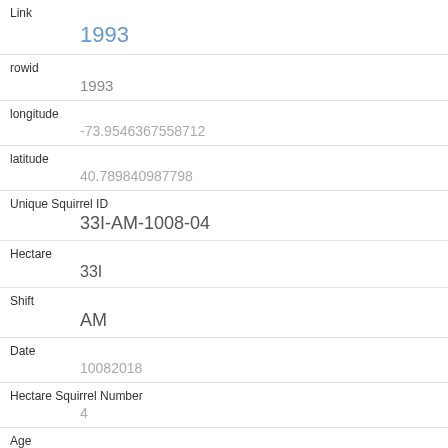| Link | 1993 |
| rowid | 1993 |
| longitude | -73.9546367558712 |
| latitude | 40.789840987798 |
| Unique Squirrel ID | 33I-AM-1008-04 |
| Hectare | 33I |
| Shift | AM |
| Date | 10082018 |
| Hectare Squirrel Number | 4 |
| Age | Adult |
| Primary Fur Color |  |